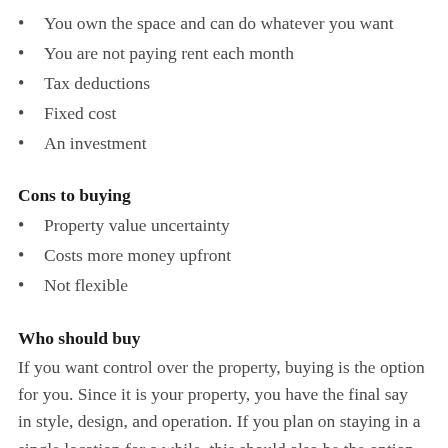You own the space and can do whatever you want
You are not paying rent each month
Tax deductions
Fixed cost
An investment
Cons to buying
Property value uncertainty
Costs more money upfront
Not flexible
Who should buy
If you want control over the property, buying is the option for you. Since it is your property, you have the final say in style, design, and operation. If you plan on staying in a single location for a while, this should also be the option you select. At the end of your time in